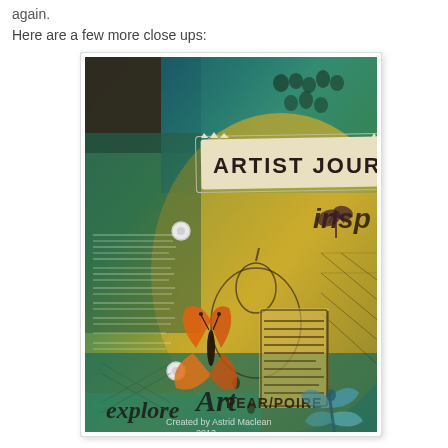again.
Here are a few more close ups:
[Figure (photo): Close-up photo of an artist journal mixed media artwork with teal, green, and yellow paint background. Features text 'ARTIST JOUR' on a torn paper label, 'insp' text, an orange butterfly, a dragonfly, 'explore Art' script text, 'BEAR POIRE' text, a pear illustration, and 'Created by Astrid Maclean 2013' at the bottom.]